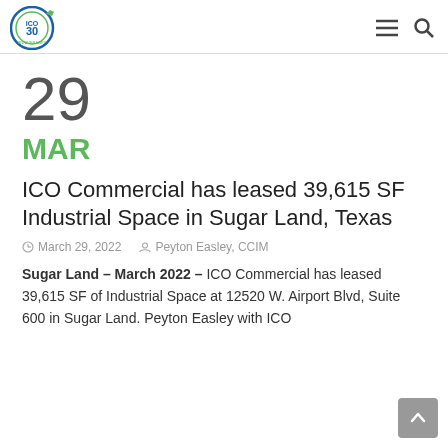ICO Commercial 30th Anniversary logo with navigation icons
29
MAR
ICO Commercial has leased 39,615 SF Industrial Space in Sugar Land, Texas
March 29, 2022   Peyton Easley, CCIM
Sugar Land – March 2022 – ICO Commercial has leased 39,615 SF of Industrial Space at 12520 W. Airport Blvd, Suite 600 in Sugar Land. Peyton Easley with ICO